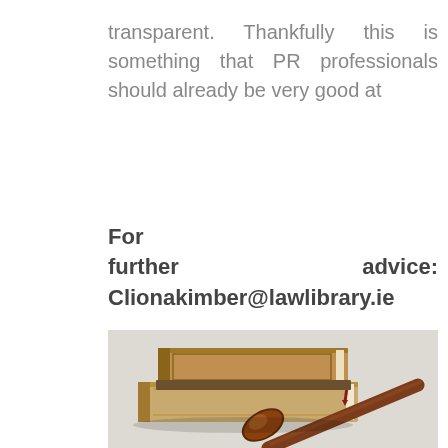transparent. Thankfully this is something that PR professionals should already be very good at
For further advice: Clionakimber@lawlibrary.ie
[Figure (photo): A wooden judge's gavel resting in front of two stacked law books on a white surface. The books are brown and appear to be legal reference volumes.]